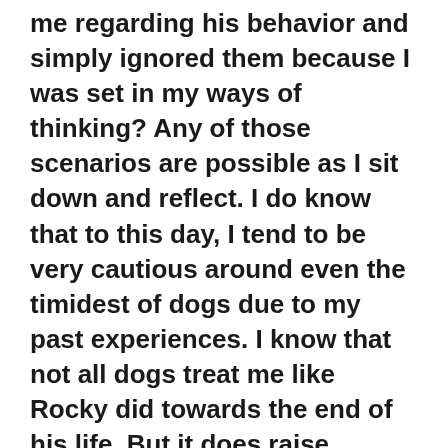me regarding his behavior and simply ignored them because I was set in my ways of thinking? Any of those scenarios are possible as I sit down and reflect. I do know that to this day, I tend to be very cautious around even the timidest of dogs due to my past experiences. I know that not all dogs treat me like Rocky did towards the end of his life. But it does raise concerns on my part and it causes me to express those concerns with my dog-obsessed fiance all the time regarding adoption in the future.
So why this story? Well, work with me for a second. What if I told you that people in this country have the same opinion about the United States that I did regarding my family's dog? It's possible to love something but still recognize that there's a problematic behavior